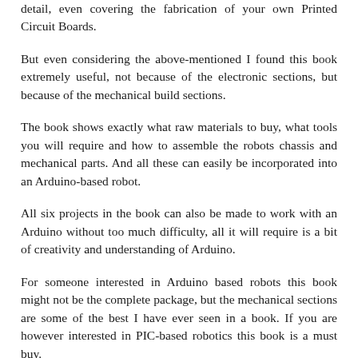detail, even covering the fabrication of your own Printed Circuit Boards.
But even considering the above-mentioned I found this book extremely useful, not because of the electronic sections, but because of the mechanical build sections.
The book shows exactly what raw materials to buy, what tools you will require and how to assemble the robots chassis and mechanical parts. And all these can easily be incorporated into an Arduino-based robot.
All six projects in the book can also be made to work with an Arduino without too much difficulty, all it will require is a bit of creativity and understanding of Arduino.
For someone interested in Arduino based robots this book might not be the complete package, but the mechanical sections are some of the best I have ever seen in a book. If you are however interested in PIC-based robotics this book is a must buy.